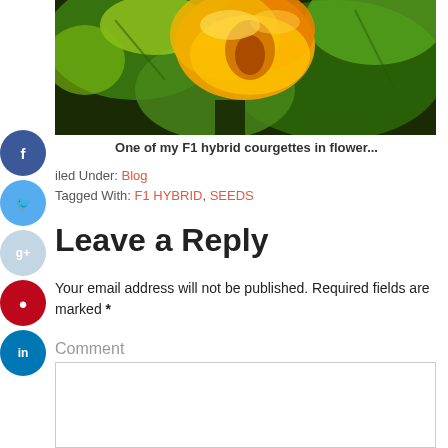[Figure (photo): Close-up photo of a yellow/orange F1 hybrid courgette flower with green leaves in background]
One of my F1 hybrid courgettes in flower...
Filed Under: Blog
Tagged With: F1 HYBRID, SEEDS
Leave a Reply
Your email address will not be published. Required fields are marked *
Comment